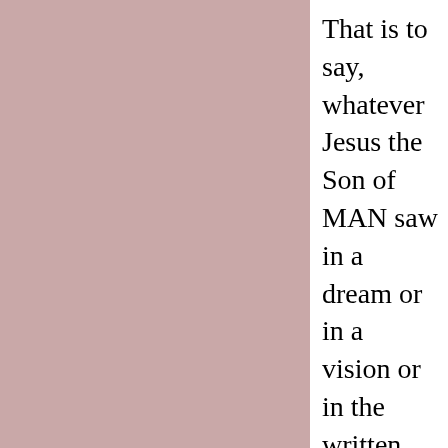That is to say, whatever Jesus the Son of MAN saw in a dream or in a vision or in the written word of God and whatever Jesus heard the Father say to do